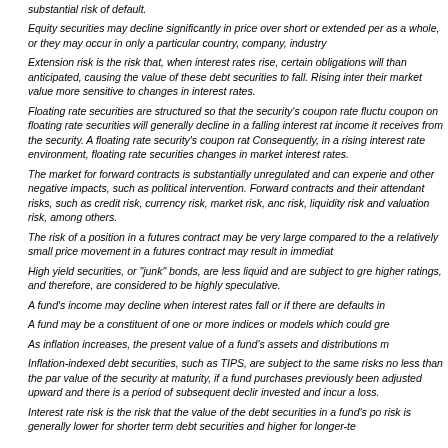substantial risk of default.
Equity securities may decline significantly in price over short or extended per as a whole, or they may occur in only a particular country, company, industry
Extension risk is the risk that, when interest rates rise, certain obligations will than anticipated, causing the value of these debt securities to fall. Rising inter their market value more sensitive to changes in interest rates.
Floating rate securities are structured so that the security's coupon rate fluctu coupon on floating rate securities will generally decline in a falling interest rat income it receives from the security. A floating rate security's coupon rat Consequently, in a rising interest rate environment, floating rate securities changes in market interest rates.
The market for forward contracts is substantially unregulated and can experie and other negative impacts, such as political intervention. Forward contracts and their attendant risks, such as credit risk, currency risk, market risk, anc risk, liquidity risk and valuation risk, among others.
The risk of a position in a futures contract may be very large compared to the a relatively small price movement in a futures contract may result in immediat
High yield securities, or "junk" bonds, are less liquid and are subject to gre higher ratings, and therefore, are considered to be highly speculative.
A fund's income may decline when interest rates fall or if there are defaults in
A fund may be a constituent of one or more indices or models which could gre
As inflation increases, the present value of a fund's assets and distributions m
Inflation-indexed debt securities, such as TIPS, are subject to the same risks no less than the par value of the security at maturity, if a fund purchases previously been adjusted upward and there is a period of subsequent declir invested and incur a loss.
Interest rate risk is the risk that the value of the debt securities in a fund's po risk is generally lower for shorter term debt securities and higher for longer-te